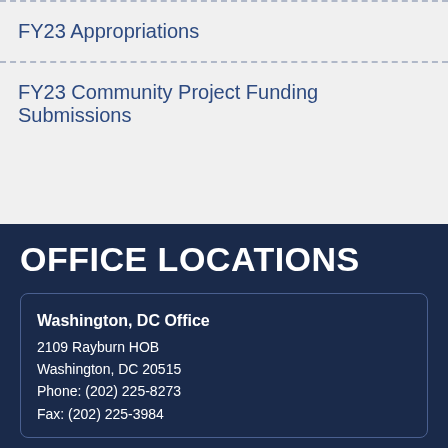FY23 Appropriations
FY23 Community Project Funding Submissions
OFFICE LOCATIONS
Washington, DC Office
2109 Rayburn HOB
Washington, DC 20515
Phone: (202) 225-8273
Fax: (202) 225-3984